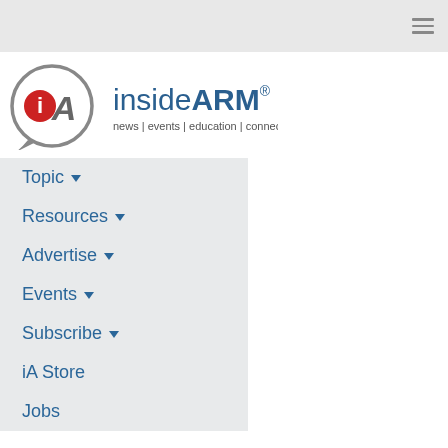[Figure (logo): insideARM logo with tagline: news | events | education | connection]
Topic ▾
Resources ▾
Advertise ▾
Events ▾
Subscribe ▾
iA Store
Jobs
Third Circuit Rules